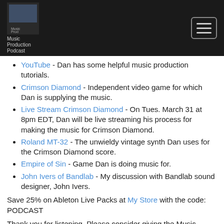Music Production Podcast
YouTube - Dan has some helpful music production tutorials.
Crimson Diamond - Independent video game for which Dan is supplying the music.
Live Stream Crimson Diamond - On Tues. March 31 at 8pm EDT, Dan will be live streaming his process for making the music for Crimson Diamond.
Roland MT-32 - The unwieldy vintage synth Dan uses for the Crimson Diamond score.
Empire of Sin - Game Dan is doing music for.
John Ivers of Bandlab - My discussion with Bandlab sound designer, John Ivers.
Save 25% on Ableton Live Packs at My Store with the code: PODCAST
Thank you for listening. Please consider giving the Music Production Podcast a review on your favorite podcast provider. And don't forget to visit my site BrianFunk.com for music production tutorials, videos, and sound packs.
Brian Funk